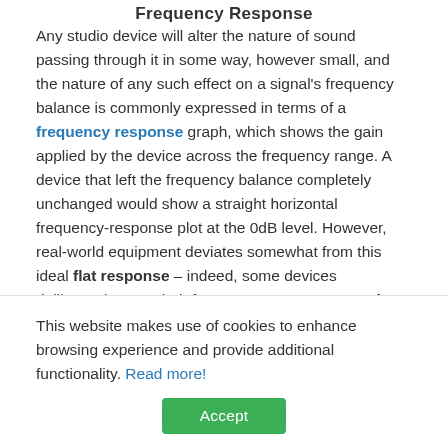Frequency Response
Any studio device will alter the nature of sound passing through it in some way, however small, and the nature of any such effect on a signal's frequency balance is commonly expressed in terms of a frequency response graph, which shows the gain applied by the device across the frequency range. A device that left the frequency balance completely unchanged would show a straight horizontal frequency-response plot at the 0dB level. However, real-world equipment deviates somewhat from this ideal flat response – indeed, some devices deliberately warp their frequency-response curve for creative purposes.
This website makes use of cookies to enhance browsing experience and provide additional functionality. Read more!
Accept